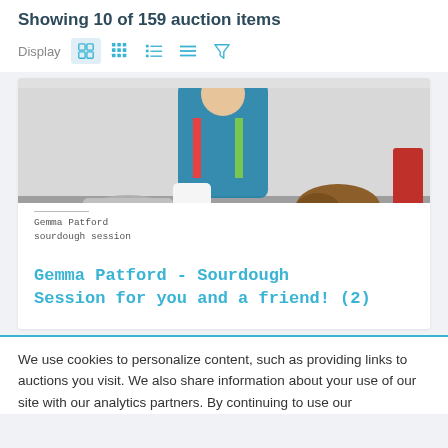Showing 10 of 159 auction items
Display [view icons]
[Figure (photo): Photo of a child in a colorful vest standing in a kitchen with sourdough bread and baking equipment on a wooden counter. Below the photo is an overlay with text: 'Gemma Patford sourdough session']
Gemma Patford - Sourdough Session for you and a friend! (2)
We use cookies to personalize content, such as providing links to auctions you visit. We also share information about your use of our site with our analytics partners. By continuing to use our